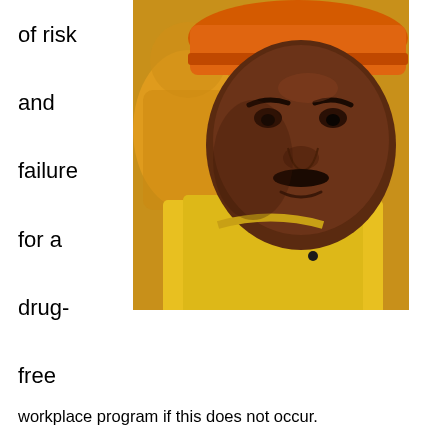of risk

and

failure

for a

drug-

free
[Figure (photo): Close-up photo of a construction worker wearing an orange hard hat and yellow safety jacket, looking serious]
workplace program if this does not occur.
If an ongoing approach to educating supervisors does not occur, try to get one started. This does not have to be complicated or burdensome, and it does not need to consume